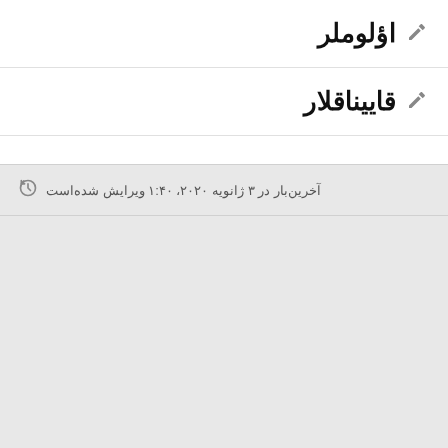اؤلوملر
قاییناقلار
آخرین‌بار در ۳ ژانویه ۲۰۲۰، ۱:۴۰ ویرایش شده‌است